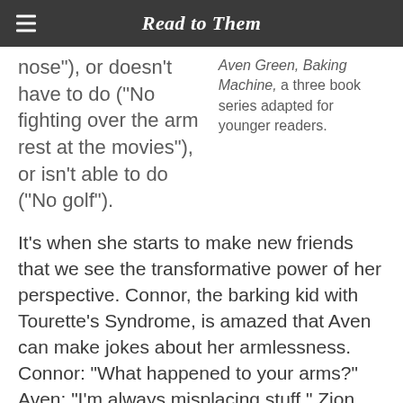Read to Them
nose"), or doesn’t have to do (“No fighting over the arm rest at the movies”), or isn’t able to do (“No golf”).
Aven Green, Baking Machine, a three book series adapted for younger readers.
It’s when she starts to make new friends that we see the transformative power of her perspective. Connor, the barking kid with Tourette’s Syndrome, is amazed that Aven can make jokes about her armlessness. Connor: “What happened to your arms?” Aven: “I’m always misplacing stuff.” Zion, the boy who eats alone because he’s self-conscious about his weight, can’t believe it either. They’re both delighted by her sense of humor. (And Betsy Bird is fist-pumping.)